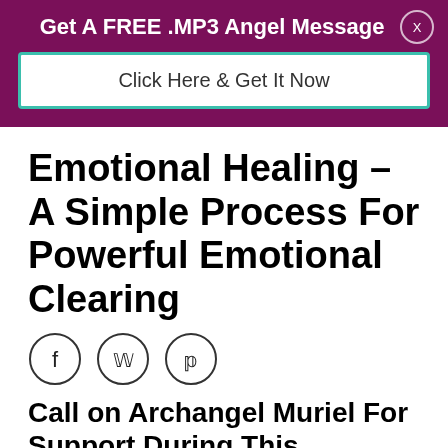Get A FREE .MP3 Angel Message
[Figure (other): Click Here & Get It Now CTA button with teal border on purple banner background]
Emotional Healing – A Simple Process For Powerful Emotional Clearing
[Figure (other): Social share icons: Facebook (f), Twitter (bird), Pinterest (P) in circular outlines]
Call on Archangel Muriel For Support During This Emotional Healing Process